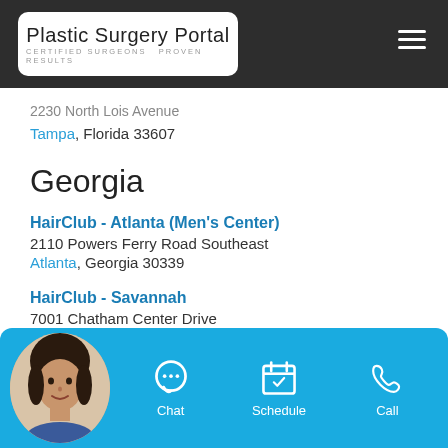Plastic Surgery Portal — CERTIFIED SURGEONS. PROVEN RESULTS.
2230 North Lois Avenue
Tampa, Florida 33607
Georgia
HairClub - Atlanta (Men's Center)
2110 Powers Ferry Road Southeast
Atlanta, Georgia 30339
HairClub - Savannah
7001 Chatham Center Drive
Savannah, Georgia 31405
Illinois
HairClub - Bloomington
207 West Jefferson Street
Bloomington, Illinois 61701
HairClub - Chicago (partial)
444 North...
Chicago, ...
[Figure (screenshot): Chat bar with avatar photo of a woman, and three action buttons: Chat, Schedule, Call on a teal/blue background]